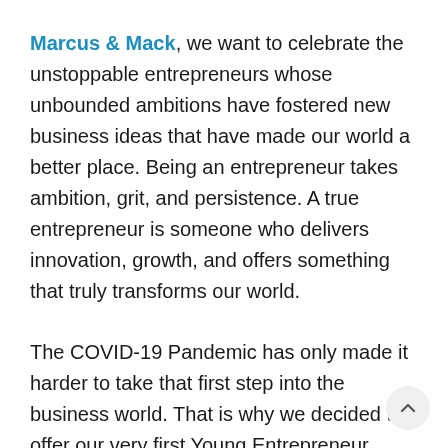Marcus & Mack, we want to celebrate the unstoppable entrepreneurs whose unbounded ambitions have fostered new business ideas that have made our world a better place. Being an entrepreneur takes ambition, grit, and persistence. A true entrepreneur is someone who delivers innovation, growth, and offers something that truly transforms our world.
The COVID-19 Pandemic has only made it harder to take that first step into the business world. That is why we decided to offer our very first Young Entrepreneur Nomination! For this nomination, we asked individuals to nominate someone that they believe is a determined, intelligent, and hard-working entrepreneur.